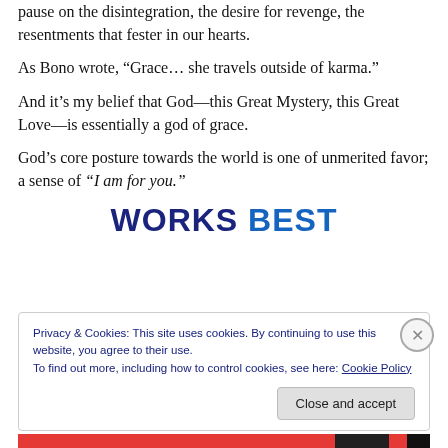Only grace — unmerited favor — seems to be able to press pause on the disintegration, the desire for revenge, the resentments that fester in our hearts.
As Bono wrote, “Grace… she travels outside of karma.”
And it’s my belief that God—this Great Mystery, this Great Love—is essentially a god of grace.
God’s core posture towards the world is one of unmerited favor; a sense of “I am for you.”
WORKS BEST
Privacy & Cookies: This site uses cookies. By continuing to use this website, you agree to their use.
To find out more, including how to control cookies, see here: Cookie Policy
Close and accept